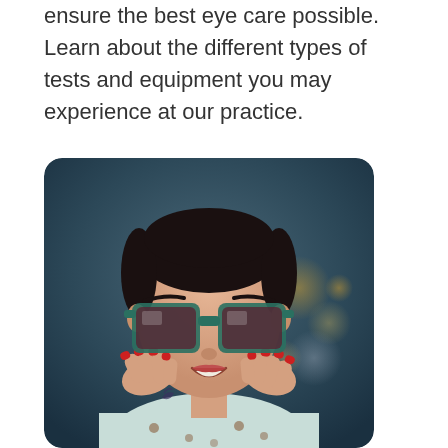ensure the best eye care possible. Learn about the different types of tests and equipment you may experience at our practice.
[Figure (photo): A smiling woman with dark hair wearing large square green-framed sunglasses, holding her face with both hands showing red nails, wearing a patterned top, photographed against a dark blurred bokeh background.]